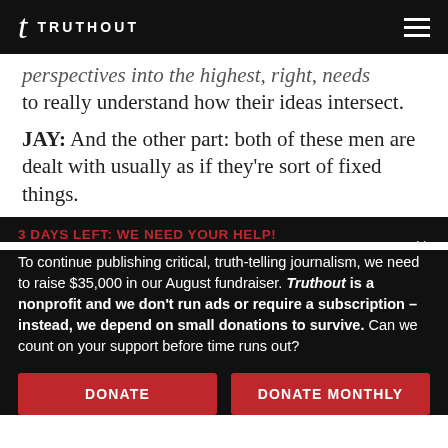TRUTHOUT
perspectives into the highest, right, needs to really understand how their ideas intersect.
JAY: And the other part: both of these men are dealt with usually as if they're sort of fixed things.
3 DAYS LEFT: WE NEED YOUR HELP!
To continue publishing critical, truth-telling journalism, we need to raise $35,000 in our August fundraiser. Truthout is a nonprofit and we don't run ads or require a subscription – instead, we depend on small donations to survive. Can we count on your support before time runs out?
DONATE
DONATE MONTHLY